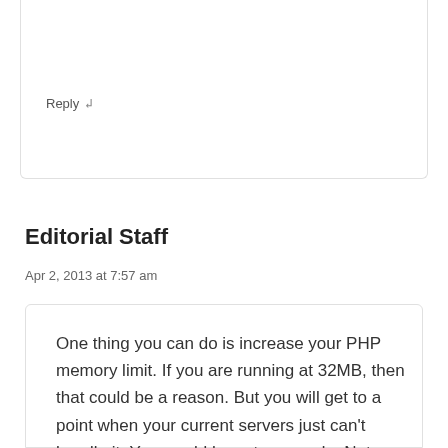running?
Reply ↲
Editorial Staff
Apr 2, 2013 at 7:57 am
One thing you can do is increase your PHP memory limit. If you are running at 32MB, then that could be a reason. But you will get to a point when your current servers just can't handle it. You would have to upgrade. Not sure what your server specs are, and how much load you are putting on it.